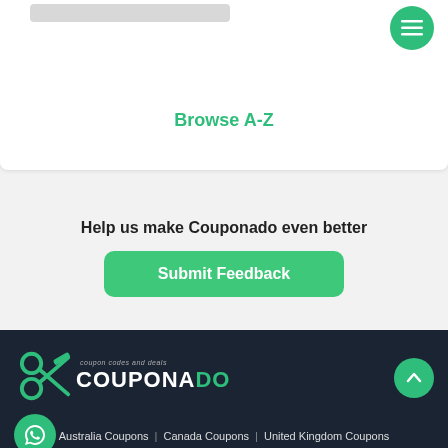[Figure (screenshot): Top white card with search bar placeholder and green hamburger menu button]
Browse A-Z
Help us make Couponado even better
Submit Feedback
[Figure (logo): Couponado logo with scissors icon and tagline 'coupon codes and deals' on dark background]
[Figure (other): Green circular WhatsApp button]
Australia Coupons | Canada Coupons | United Kingdom Coupons